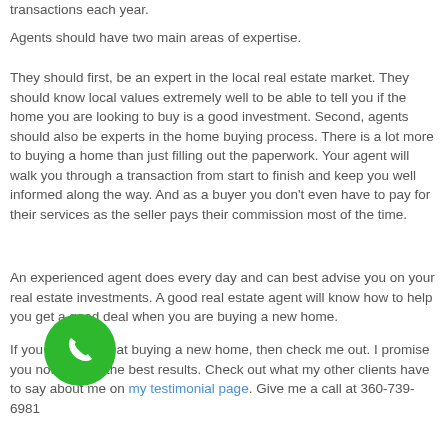transactions each year.
Agents should have two main areas of expertise.
They should first, be an expert in the local real estate market. They should know local values extremely well to be able to tell you if the home you are looking to buy is a good investment. Second, agents should also be experts in the home buying process. There is a lot more to buying a home than just filling out the paperwork. Your agent will walk you through a transaction from start to finish and keep you well informed along the way. And as a buyer you don't even have to pay for their services as the seller pays their commission most of the time.
An experienced agent does every day and can best advise you on your real estate investments. A good real estate agent will know how to help you get a good deal when you are buying a new home.
If you are looking at buying a new home, then check me out. I promise you nothing but the best results. Check out what my other clients have to say about me on my testimonial page. Give me a call at 360-739-6981